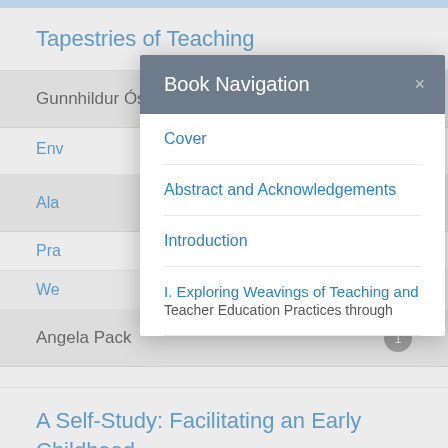Tapestries of Teaching
Gunnhildur Óskarsdóttir  1
Env…
Ala…  2
Pra…
We…  g
Angela Pack  1
A Self-Study: Facilitating an Early Childhood Critical Literacy Junk Art Club with
[Figure (screenshot): Book Navigation modal dialog overlay with options: Cover, Abstract and Acknowledgements, Introduction, I. Exploring Weavings of Teaching and Teacher Education Practices through…]